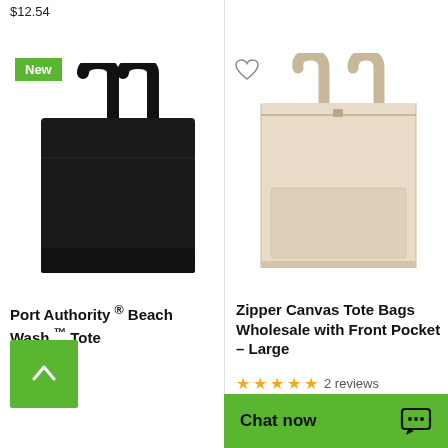$12.54
[Figure (photo): Black canvas tote bag with 'New' badge overlay]
Port Authority ® Beach Wash ™ Tote
$7.98
[Figure (photo): Beige/cream zipper canvas tote bag with front pocket, large size, with heart wishlist icon]
Zipper Canvas Tote Bags Wholesale with Front Pocket – Large
★★★★★ 2 reviews
$8.46
Chat now